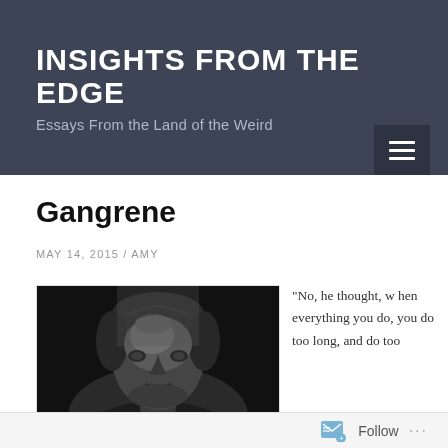INSIGHTS FROM THE EDGE
Essays From the Land of the Weird
Gangrene
MAY 14, 2015 / AMY
[Figure (photo): Black and white close-up portrait of an older man with grey hair, dramatic lighting from above]
"No, he thought, when everything you do, you do too long, and do too